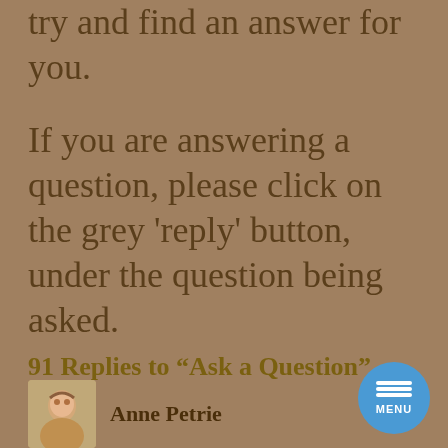try and find an answer for you.
If you are answering a question, please click on the grey 'reply' button, under the question being asked.
91 Replies to “Ask a Question”
Anne Petrie